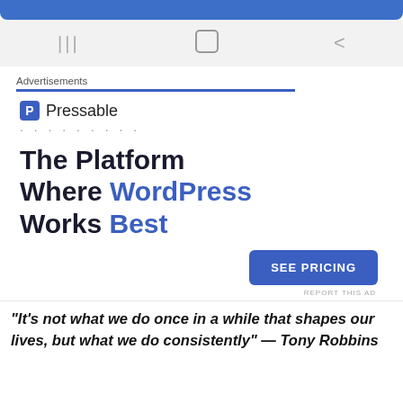[Figure (screenshot): Top blue navigation bar of a mobile app/browser]
[Figure (screenshot): Mobile navigation bar with three icons: recent apps (lines), home (square), back (chevron)]
Advertisements
[Figure (screenshot): Pressable advertisement banner showing logo, headline 'The Platform Where WordPress Works Best', and SEE PRICING button]
“It’s not what we do once in a while that shapes our lives, but what we do consistently” — Tony Robbins